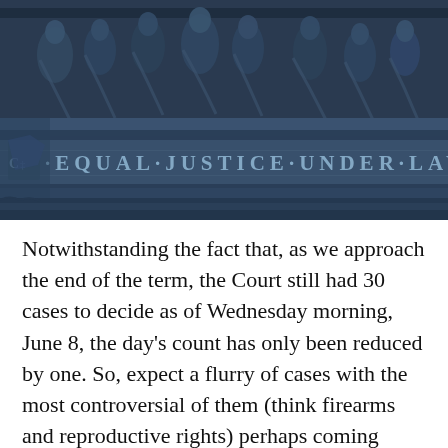[Figure (photo): Photo of the U.S. Supreme Court building frieze showing classical stone sculptures and the inscription 'EQUAL JUSTICE UNDER LAW' engraved in stone, photographed at dusk in dark blue tones.]
Notwithstanding the fact that, as we approach the end of the term, the Court still had 30 cases to decide as of Wednesday morning, June 8, the day's count has only been reduced by one. So, expect a flurry of cases with the most controversial of them (think firearms and reproductive rights) perhaps coming down at the end.